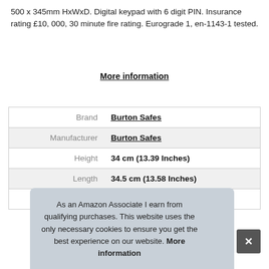500 x 345mm HxWxD. Digital keypad with 6 digit PIN. Insurance rating £10,000, 30 minute fire rating. Eurograde 1, en-1143-1 tested.
More information
| Brand | Burton Safes |
| Manufacturer | Burton Safes |
| Height | 34 cm (13.39 Inches) |
| Length | 34.5 cm (13.58 Inches) |
| Width | 50 cm (19.69 Inches) |
As an Amazon Associate I earn from qualifying purchases. This website uses the only necessary cookies to ensure you get the best experience on our website. More information